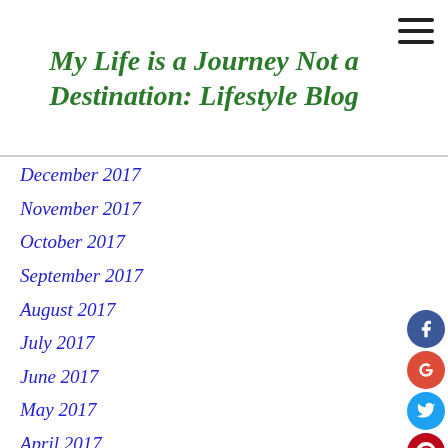My Life is a Journey Not a Destination: Lifestyle Blog
December 2017
November 2017
October 2017
September 2017
August 2017
July 2017
June 2017
May 2017
April 2017
March 2017
February 2017
January 2017
December 2016
November 2016
October 2016
September 2016